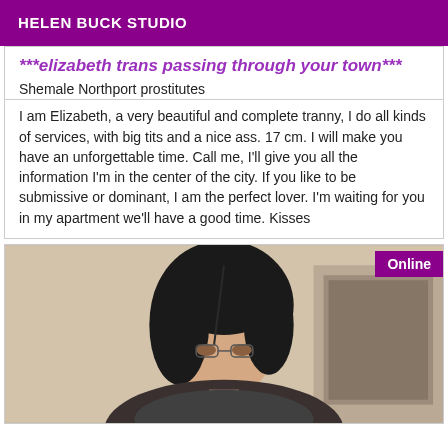HELEN BUCK STUDIO
***elizabeth trans passing through your town***
Shemale Northport prostitutes
I am Elizabeth, a very beautiful and complete tranny, I do all kinds of services, with big tits and a nice ass. 17 cm. I will make you have an unforgettable time. Call me, I'll give you all the information I'm in the center of the city. If you like to be submissive or dominant, I am the perfect lover. I'm waiting for you in my apartment we'll have a good time. Kisses
[Figure (photo): Photo of a person with dark hair, face partially visible, indoor setting. Online badge in top right corner.]